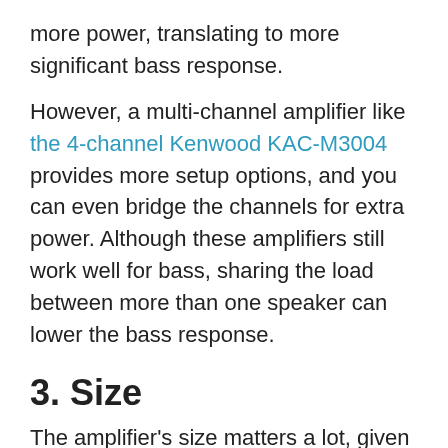more power, translating to more significant bass response.
However, a multi-channel amplifier like the 4-channel Kenwood KAC-M3004 provides more setup options, and you can even bridge the channels for extra power. Although these amplifiers still work well for bass, sharing the load between more than one speaker can lower the bass response.
3. Size
The amplifier's size matters a lot, given that most vehicles will not have a lot of space to spare for one, and many do not even have a dedicated spot for aftermarket ones. Hence, if what you buy is too big, you will have difficulties finding room for it in the vehicle.
A good amplifier should be more compact to ensure you can easily tuck it under one seat in the vehicle. Despite the smaller size, it should still not compromise on the power...